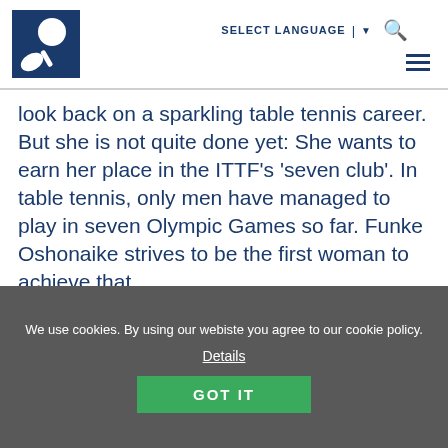SELECT LANGUAGE
[Figure (logo): ITTF logo: dark blue square with a white table tennis ball and hand/paddle silhouette]
look back on a sparkling table tennis career. But she is not quite done yet: She wants to earn her place in the ITTF’s ‘seven club’. In table tennis, only men have managed to play in seven Olympic Games so far. Funke Oshonaike strives to be the first woman to achieve that.
[Figure (photo): Indoor sports arena with teal/blue seating, overhead truss lighting rigs, and scattered audience members in the stands]
We use cookies. By using our webiste you agree to our cookie policy.
Details
GOT IT